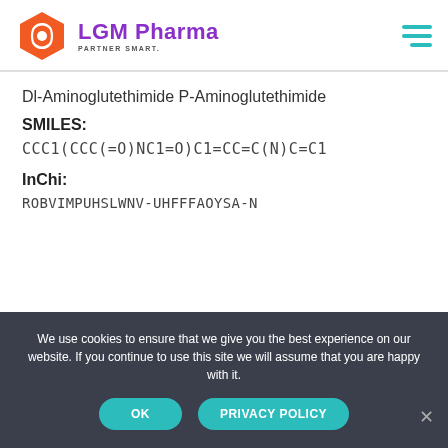LGM Pharma PARTNER SMART.
Dl-Aminoglutethimide P-Aminoglutethimide
SMILES:
CCC1(CCC(=O)NC1=O)C1=CC=C(N)C=C1
InChi:
ROBVIMPUHSLWNV-UHFFFAOYSA-N
We use cookies to ensure that we give you the best experience on our website. If you continue to use this site we will assume that you are happy with it.